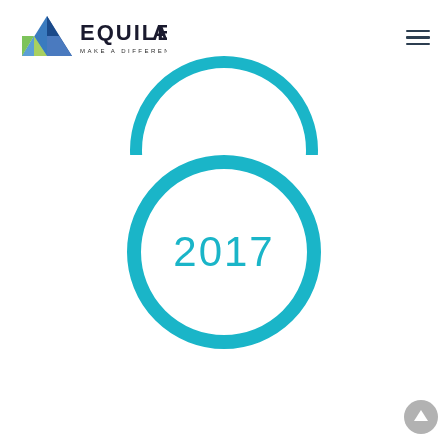[Figure (logo): Equileap logo with colorful triangle and text 'EQUILEAP - MAKE A DIFFERENCE AND A RETURN']
[Figure (illustration): Partial teal circle arc visible at top of content area (cropped circle)]
[Figure (illustration): Full teal circle outline with '2017' text in teal inside the circle]
[Figure (illustration): Gray circular scroll-to-top button in bottom right corner with upward arrow]